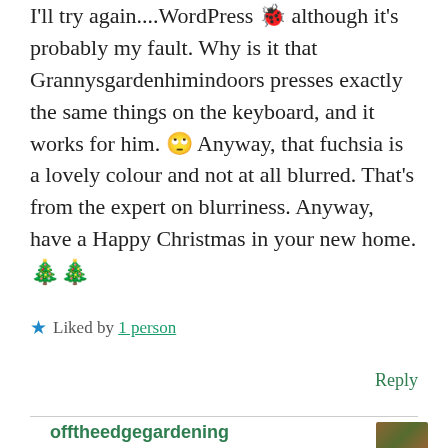I'll try again....WordPress 🐞 although it's probably my fault. Why is it that Grannysgardenhimindoors presses exactly the same things on the keyboard, and it works for him. 🙄 Anyway, that fuchsia is a lovely colour and not at all blurred. That's from the expert on blurriness. Anyway, have a Happy Christmas in your new home. 🎄🎄
★ Liked by 1 person
Reply
offtheedgegardening
December 18, 2021 at 6:03 pm
I've struggled today trying to comment on Hortus Baileyana's post. You got here in the end, unlike me!